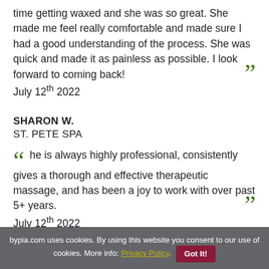time getting waxed and she was so great. She made me feel really comfortable and made sure I had a good understanding of the process. She was quick and made it as painless as possible. I look forward to coming back! ” July 12th 2022
SHARON W. ST. PETE SPA “ he is always highly professional, consistently gives a thorough and effective therapeutic massage, and has been a joy to work with over past 5+ years. ” July 12th 2022
bypia.com uses cookies. By using this website you consent to our use of cookies. More info: Privacy Policy. Got It!